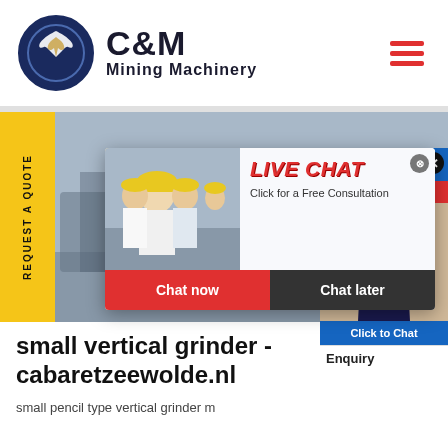[Figure (logo): C&M Mining Machinery logo with eagle in gear circle and company name]
[Figure (photo): Mining machinery equipment at industrial site with workers in yellow hard hats - background banner image]
[Figure (infographic): Live Chat popup overlay with workers photo, LIVE CHAT title, 'Click for a Free Consultation' text, Chat now and Chat later buttons]
[Figure (photo): Right side chat widget showing Hours Online text, woman with headset, Click to Chat button, and Enquiry text]
small vertical grinder - cabaretzeewolde.nl
small pencil type vertical grinder m